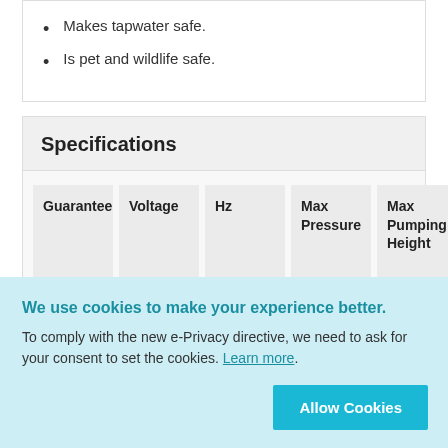Makes tapwater safe.
Is pet and wildlife safe.
Specifications
| Guarantee | Voltage | Hz | Max Pressure | Max Pumping Height | IP Rating |
| --- | --- | --- | --- | --- | --- |
We use cookies to make your experience better. To comply with the new e-Privacy directive, we need to ask for your consent to set the cookies. Learn more.